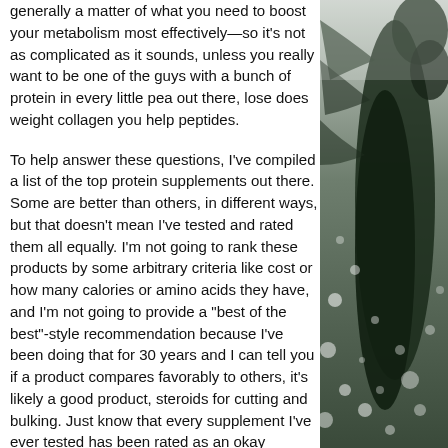generally a matter of what you need to boost your metabolism most effectively—so it's not as complicated as it sounds, unless you really want to be one of the guys with a bunch of protein in every little pea out there, lose does weight collagen you help peptides.
To help answer these questions, I've compiled a list of the top protein supplements out there. Some are better than others, in different ways, but that doesn't mean I've tested and rated them all equally. I'm not going to rank these products by some arbitrary criteria like cost or how many calories or amino acids they have, and I'm not going to provide a "best of the best"-style recommendation because I've been doing that for 30 years and I can tell you if a product compares favorably to others, it's likely a good product, steroids for cutting and bulking. Just know that every supplement I've ever tested has been rated as an okay
[Figure (photo): Black and white photograph of a snowy evergreen tree with bokeh snow dots visible in the background, shot in portrait orientation on the right side of the page.]